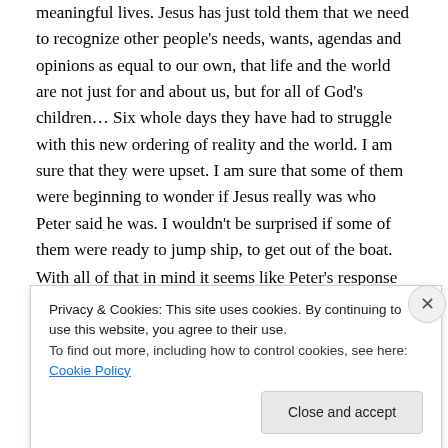meaningful lives. Jesus has just told them that we need to recognize other people's needs, wants, agendas and opinions as equal to our own, that life and the world are not just for and about us, but for all of God's children… Six whole days they have had to struggle with this new ordering of reality and the world.   I am sure that they were upset.  I am sure that some of them were beginning to wonder if Jesus really was who Peter said he was.  I wouldn't be surprised if some of them were ready to jump ship, to get out of the boat.
With all of that in mind it seems like Peter's response
Privacy & Cookies: This site uses cookies. By continuing to use this website, you agree to their use.
To find out more, including how to control cookies, see here: Cookie Policy